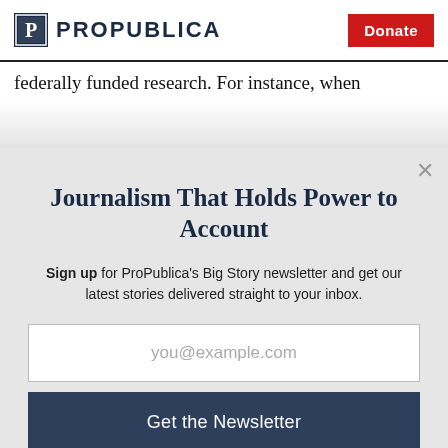ProPublica | Donate
federally funded research. For instance, when
[Figure (screenshot): ProPublica newsletter signup modal overlay with title 'Journalism That Holds Power to Account', email input field, 'Get the Newsletter' button, 'No thanks, I'm all set' link, and reCAPTCHA notice]
Journalism That Holds Power to Account
Sign up for ProPublica's Big Story newsletter and get our latest stories delivered straight to your inbox.
you@example.com
Get the Newsletter
No thanks, I'm all set
This site is protected by reCAPTCHA and the Google Privacy Policy and Terms of Service apply.